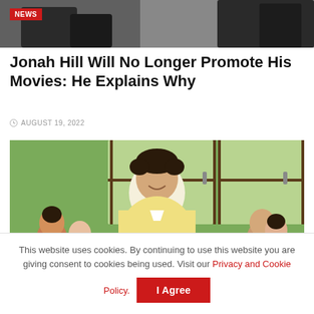[Figure (photo): Top portion of a news article page showing people in formal attire, partially cropped, with a red NEWS badge in the upper left corner]
Jonah Hill Will No Longer Promote His Movies: He Explains Why
AUGUST 19, 2022
[Figure (photo): A man in a yellow shirt smiling and looking to the side, surrounded by children sitting at desks in a classroom with large windows behind them]
This website uses cookies. By continuing to use this website you are giving consent to cookies being used. Visit our Privacy and Cookie Policy.
I Agree